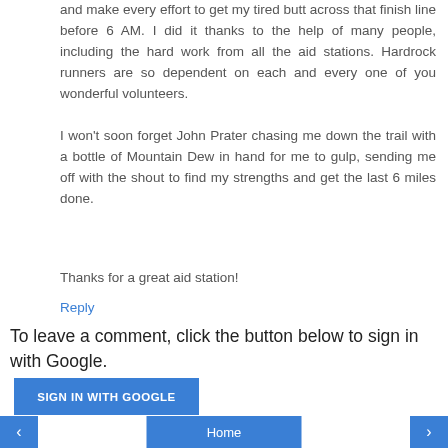and make every effort to get my tired butt across that finish line before 6 AM. I did it thanks to the help of many people, including the hard work from all the aid stations. Hardrock runners are so dependent on each and every one of you wonderful volunteers.
I won't soon forget John Prater chasing me down the trail with a bottle of Mountain Dew in hand for me to gulp, sending me off with the shout to find my strengths and get the last 6 miles done.
Thanks for a great aid station!
Reply
To leave a comment, click the button below to sign in with Google.
SIGN IN WITH GOOGLE
‹  Home  ›